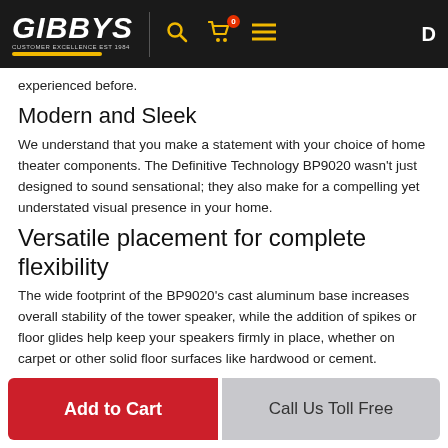GIBBYS [logo with navigation icons]
experienced before.
Modern and Sleek
We understand that you make a statement with your choice of home theater components. The Definitive Technology BP9020 wasn’t just designed to sound sensational; they also make for a compelling yet understated visual presence in your home.
Versatile placement for complete flexibility
The wide footprint of the BP9020’s cast aluminum base increases overall stability of the tower speaker, while the addition of spikes or floor glides help keep your speakers firmly in place, whether on carpet or other solid floor surfaces like hardwood or cement.
Not Just for Home Cinema